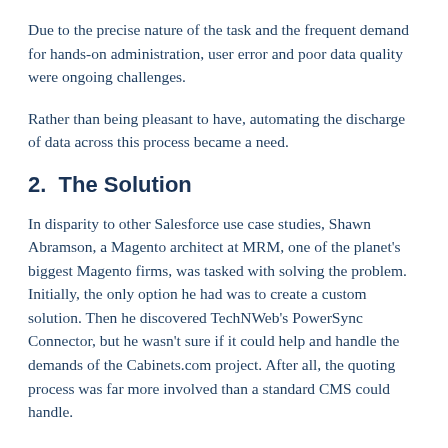Due to the precise nature of the task and the frequent demand for hands-on administration, user error and poor data quality were ongoing challenges.
Rather than being pleasant to have, automating the discharge of data across this process became a need.
2.  The Solution
In disparity to other Salesforce use case studies, Shawn Abramson, a Magento architect at MRM, one of the planet's biggest Magento firms, was tasked with solving the problem. Initially, the only option he had was to create a custom solution. Then he discovered TechNWeb's PowerSync Connector, but he wasn't sure if it could help and handle the demands of the Cabinets.com project. After all, the quoting process was far more involved than a standard CMS could handle.